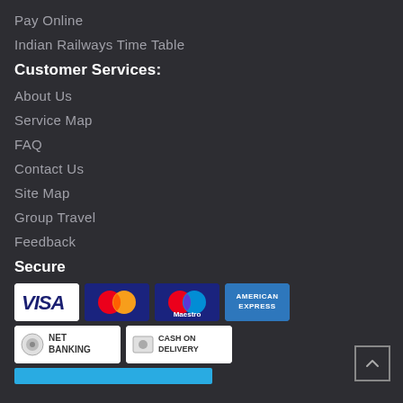Pay Online
Indian Railways Time Table
Customer Services:
About Us
Service Map
FAQ
Contact Us
Site Map
Group Travel
Feedback
Secure
[Figure (infographic): Payment method logos: VISA, MasterCard, Maestro, American Express, Net Banking, Cash on Delivery, and a partial blue bar at bottom]